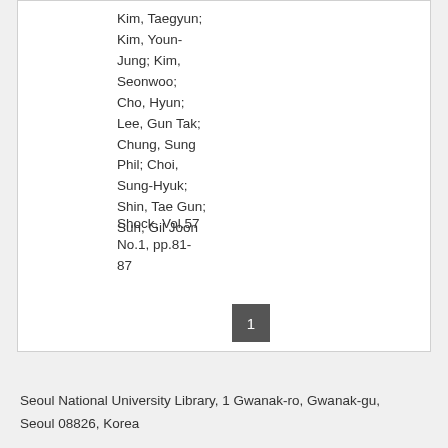Kim, Taegyun; Kim, Youn-Jung; Kim, Seonwoo; Cho, Hyun; Lee, Gun Tak; Chung, Sung Phil; Choi, Sung-Hyuk; Shin, Tae Gun; Suh, Gil Joon
Shock, Vol.57 No.1, pp.81-87
Seoul National University Library, 1 Gwanak-ro, Gwanak-gu, Seoul 08826, Korea